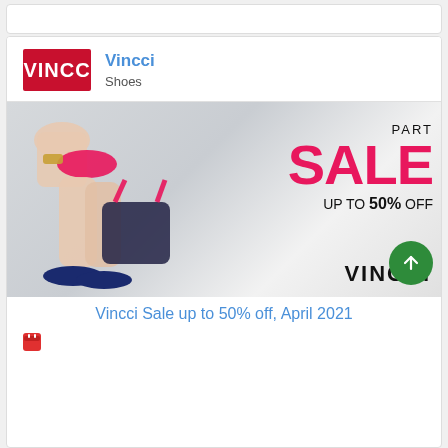[Figure (logo): Vincci brand logo with red background showing VINCC text in white]
Vincci
Shoes
[Figure (photo): Promotional advertisement image for Vincci shoes showing a woman's legs wearing blue espadrilles, holding a pink and black patterned bag. Text overlay reads PART SALE UP TO 50% OFF in red and black. VINCCI logo at bottom right.]
Vincci Sale up to 50% off, April 2021
[Figure (other): Calendar icon in red]